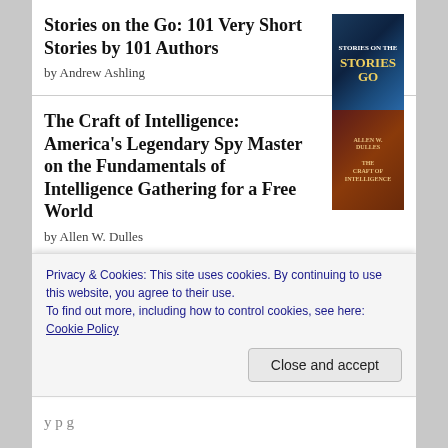Stories on the Go: 101 Very Short Stories by 101 Authors
by Andrew Ashling
The Craft of Intelligence: America's Legendary Spy Master on the Fundamentals of Intelligence Gathering for a Free World
by Allen W. Dulles
Detailed and very informative If you're interested in the world of intelligence-gathering, specifically that of the CIA in its early years, then this makes for a great read. Dulles includes many anecdotes and firsthand details regardi
Privacy & Cookies: This site uses cookies. By continuing to use this website, you agree to their use.
To find out more, including how to control cookies, see here: Cookie Policy
Close and accept